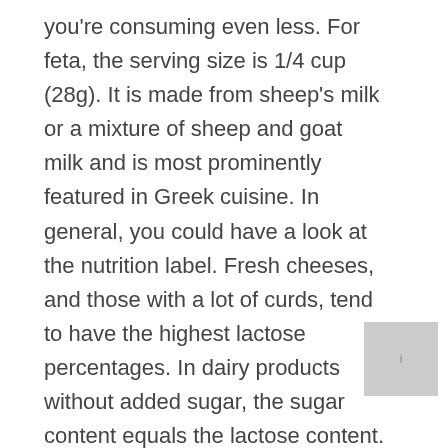you're consuming even less. For feta, the serving size is 1/4 cup (28g). It is made from sheep's milk or a mixture of sheep and goat milk and is most prominently featured in Greek cuisine. In general, you could have a look at the nutrition label. Fresh cheeses, and those with a lot of curds, tend to have the highest lactose percentages. In dairy products without added sugar, the sugar content equals the lactose content. eval(ez_write_tag([[336,280],'lactosefre banner-1','ezslot_7',106,'0','0']));If
[Figure (other): Gray advertisement placeholder box with a small icon or label inside]